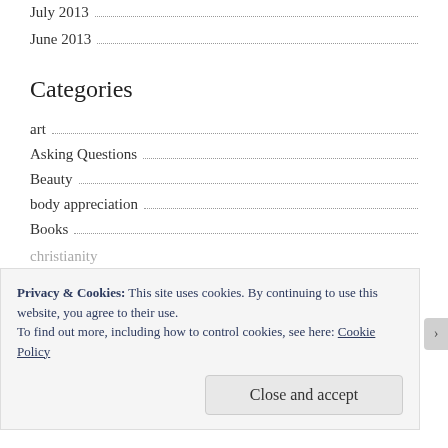July 2013
June 2013
Categories
art
Asking Questions
Beauty
body appreciation
Books
Privacy & Cookies: This site uses cookies. By continuing to use this website, you agree to their use.
To find out more, including how to control cookies, see here: Cookie Policy
Close and accept